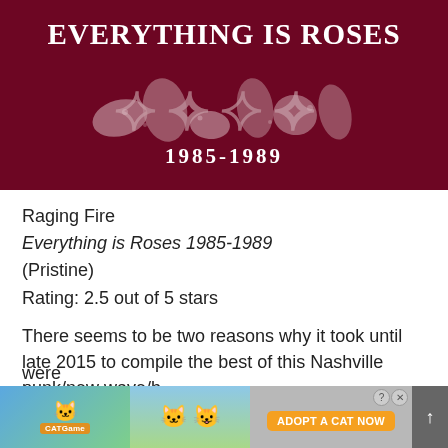[Figure (illustration): Album cover for 'Everything is Roses 1985-1989' on dark crimson/maroon background with stylized band logo in white and the years 1985-1989 below]
Raging Fire
Everything is Roses 1985-1989
(Pristine)
Rating: 2.5 out of 5 stars
There seems to be two reasons why it took until late 2015 to compile the best of this Nashville punk/new wave/b[and]... were never...
[Figure (screenshot): Mobile advertisement overlay for 'Cat Game' showing cartoon cats and 'ADOPT A CAT NOW' button, with close (X) and question mark (?) icons]